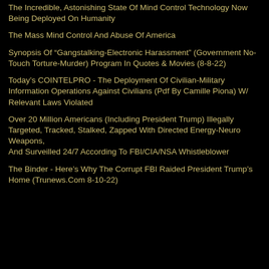The Incredible, Astonishing State Of Mind Control Technology Now Being Deployed On Humanity
The Mass Mind Control And Abuse Of America
Synopsis Of “Gangstalking-Electronic Harassment” (Government No-Touch Torture-Murder) Program In Quotes & Movies (8-8-22)
Today’s COINTELPRO - The Deployment Of Civilian-Military Information Operations Against Civilians (Pdf By Camille Piona) W/ Relevant Laws Violated
Over 20 Million Americans (Including President Trump) Illegally Targeted, Tracked, Stalked, Zapped With Directed Energy-Neuro Weapons,
And Surveilled 24/7 According To FBI/CIA/NSA Whistleblower
The Binder - Here’s Why The Corrupt FBI Raided President Trump’s Home (Trunews.Com 8-10-22)